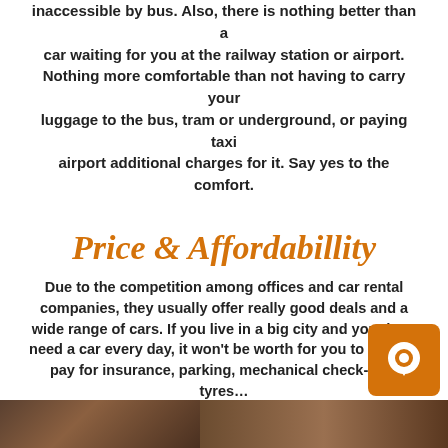inaccessible by bus. Also, there is nothing better than a car waiting for you at the railway station or airport. Nothing more comfortable than not having to carry your luggage to the bus, tram or underground, or paying taxi airport additional charges for it. Say yes to the comfort.
Price & Affordabillity
Due to the competition among offices and car rental companies, they usually offer really good deals and a wide range of cars. If you live in a big city and you don't need a car every day, it won't be worth for you to have to pay for insurance, parking, mechanical check-ups, tyres… if you only use the car to go to IKEA or on a romantic trip. Rent a car on those specific occasions and you will pay less than owning a car. Even if it seems expensive (up to €200 for four days) it's much cheaper than owning a car.
[Figure (photo): A photo strip at the bottom of the page]